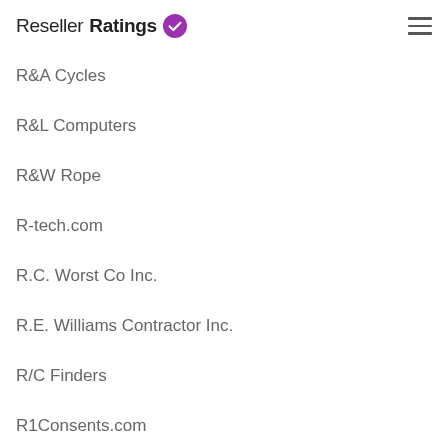ResellerRatings
R&A Cycles
R&L Computers
R&W Rope
R-tech.com
R.C. Worst Co Inc.
R.E. Williams Contractor Inc.
R/C Finders
R1Consents.com